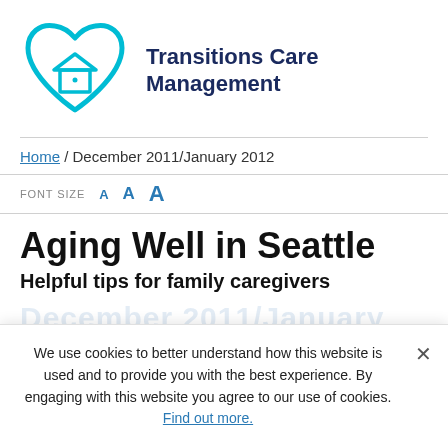[Figure (logo): Transitions Care Management logo: a cyan/teal heart outline containing a house icon, with bold dark navy text 'Transitions Care Management' to the right]
Home / December 2011/January 2012
FONT SIZE  A  A  A
Aging Well in Seattle
Helpful tips for family caregivers
December 2011/January 2012
Subscribe. It's free!
We use cookies to better understand how this website is used and to provide you with the best experience. By engaging with this website you agree to our use of cookies. Find out more.